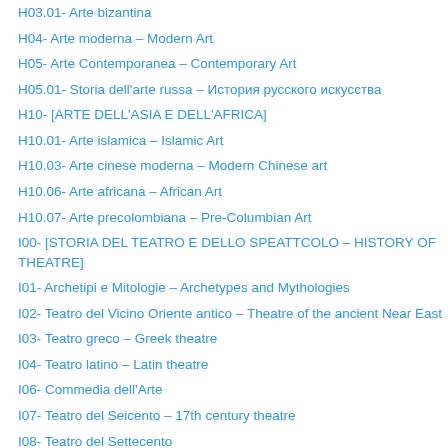H03.01- Arte bizantina
H04- Arte moderna – Modern Art
H05- Arte Contemporanea – Contemporary Art
H05.01- Storia dell'arte russa – История русского искусства
H10- [ARTE DELL'ASIA E DELL'AFRICA]
H10.01- Arte islamica – Islamic Art
H10.03- Arte cinese moderna – Modern Chinese art
H10.06- Arte africana – African Art
H10.07- Arte precolombiana – Pre-Columbian Art
I00- [STORIA DEL TEATRO E DELLO SPEATTCOLO – HISTORY OF THEATRE]
I01- Archetipi e Mitologie – Archetypes and Mythologies
I02- Teatro del Vicino Oriente antico – Theatre of the ancient Near East
I03- Teatro greco – Greek theatre
I04- Teatro latino – Latin theatre
I06- Commedia dell'Arte
I07- Teatro del Seicento – 17th century theatre
I08- Teatro del Settecento
I09- Teatro dell' Ottocento
I10- Teatro del Novecento